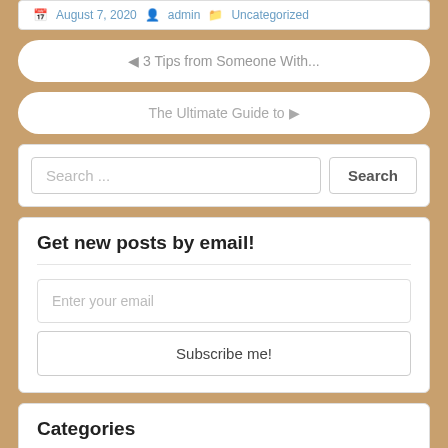August 7, 2020  admin  Uncategorized
◄ 3 Tips from Someone With...
The Ultimate Guide to ►
Search ...
Get new posts by email!
Enter your email
Subscribe me!
Categories
Advertising & Marketing